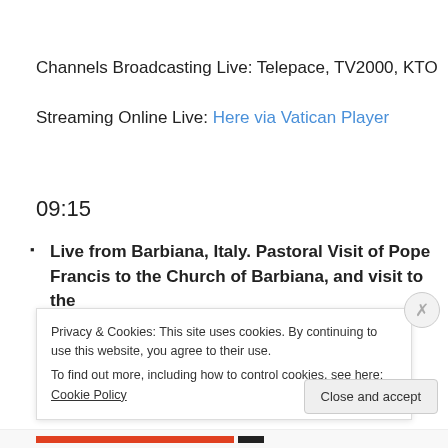Channels Broadcasting Live: Telepace, TV2000, KTO
Streaming Online Live: Here via Vatican Player
09:15
Live from Barbiana, Italy. Pastoral Visit of Pope Francis to the Church of Barbiana, and visit to the
Privacy & Cookies: This site uses cookies. By continuing to use this website, you agree to their use.
To find out more, including how to control cookies, see here: Cookie Policy
Close and accept